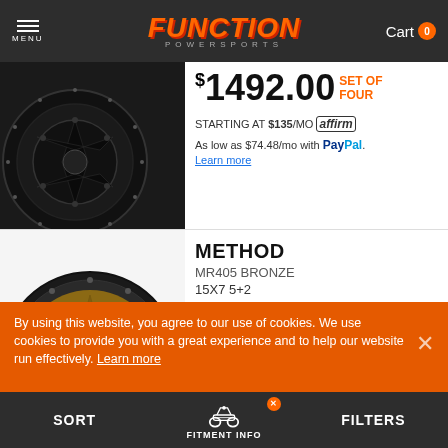MENU | FUNCTION POWERSPORTS | Cart 0
$1492.00 SET OF FOUR
STARTING AT $135/MO affirm
As low as $74.48/mo with PayPal. Learn more
METHOD
MR405 BRONZE
15X7 5+2
SAVE UP TO $106.00 WHEN ADDING TIRES TO PACKAGE
MOUNTING & SHIPPING
6.00 SET OF FOUR
STARTING AT $135/MO affirm
By using this website, you agree to our use of cookies. We use cookies to provide you with a great experience and to help our website run effectively. Learn more
SORT | FITMENT INFO | FILTERS